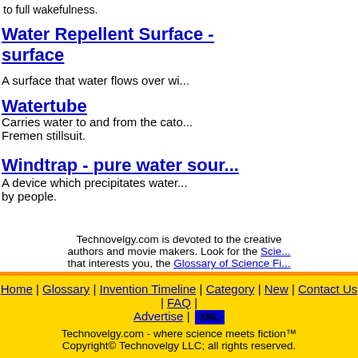to full wakefulness.
Water Repellent Surface - surface
A surface that water flows over wi...
Watertube
Carries water to and from the cato... Fremen stillsuit.
Windtrap - pure water sour...
A device which precipitates water... by people.
Technovelgy.com is devoted to the creative authors and movie makers. Look for the Scie... that interests you, the Glossary of Science Fi... Science Fiction Inventions, or Find new authors and technologies - Shop fo... lab.
Home | Glossary | Invention Timeline | Category | New | Contact Us | FAQ | Advertise | XML
Technovelgy.com - where science meets fiction™
Copyright© Technovelgy LLC; all rights reserved.